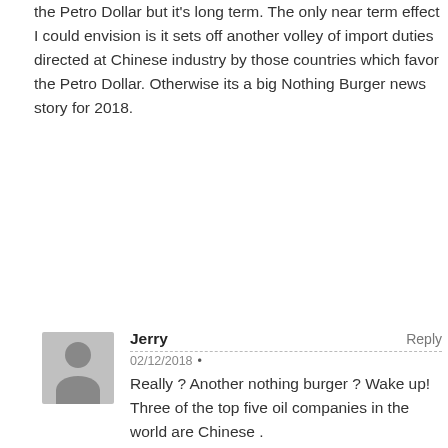the Petro Dollar but it's long term. The only near term effect I could envision is it sets off another volley of import duties directed at Chinese industry by those countries which favor the Petro Dollar. Otherwise its a big Nothing Burger news story for 2018.
Jerry
Reply
02/12/2018 •
Really ? Another nothing burger ? Wake up! Three of the top five oil companies in the world are Chinese . https://www.worldatlas.com/articles/biggest-oil-companies-in-the-world.htm

Greg I'm beginning to think I'm wasting my time here.